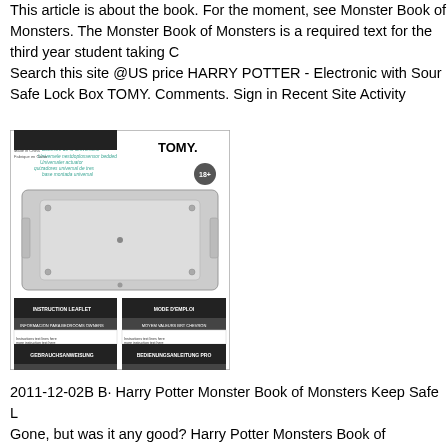This article is about the book. For the moment, see Monster Book of Monsters. The Monster Book of Monsters is a required text for the third year student taking Care of Magical Creatures. Search this site @US price HARRY POTTER - Electronic with Sound Harry Potter Monster Book Safe Lock Box TOMY. Comments. Sign in Recent Site Activity
[Figure (photo): Product instruction leaflet image for TOMY Universal soft bedded product, showing the product from above with multilingual text and the TOMY logo, along with instruction panels in multiple languages.]
2011-12-02B B· Harry Potter Monster Book of Monsters Keep Safe Lock Box - Gone, but was it any good? Harry Potter Monsters Book of Monsters